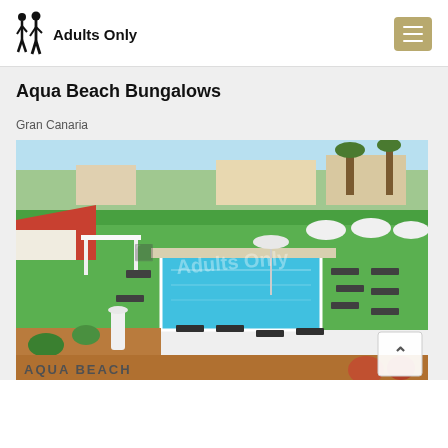[Figure (logo): Adults Only logo with two human silhouette figures and bold text 'Adults Only']
[Figure (other): Hamburger menu button with gold/tan background and three white horizontal lines]
Aqua Beach Bungalows
Gran Canaria
[Figure (photo): Aerial view of Aqua Beach Bungalows resort in Gran Canaria showing a rectangular swimming pool surrounded by sun loungers, green lawn, white cabana structures, palm trees, and terracotta-roofed buildings. Watermark reads 'Adults Only'. Bottom-left shows 'AQUA BEACH' text overlay. A scroll-up arrow button appears in the bottom-right corner.]